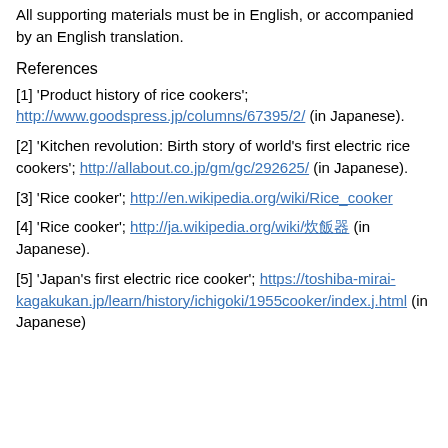All supporting materials must be in English, or accompanied by an English translation.
References
[1] 'Product history of rice cookers'; http://www.goodspress.jp/columns/67395/2/ (in Japanese).
[2] 'Kitchen revolution: Birth story of world's first electric rice cookers'; http://allabout.co.jp/gm/gc/292625/ (in Japanese).
[3] 'Rice cooker'; http://en.wikipedia.org/wiki/Rice_cooker
[4] 'Rice cooker'; http://ja.wikipedia.org/wiki/炊飯器 (in Japanese).
[5] 'Japan's first electric rice cooker'; https://toshiba-mirai-kagakukan.jp/learn/history/ichigoki/1955cooker/index.j.html (in Japanese)